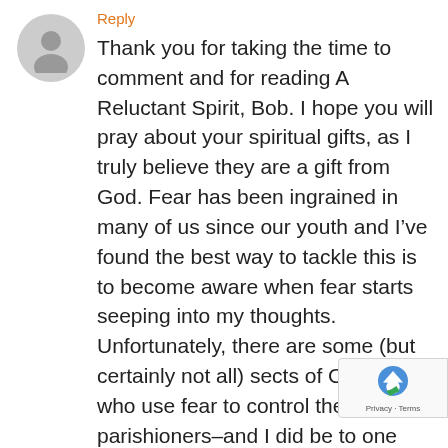[Figure (illustration): Grey circular avatar placeholder icon with a person silhouette]
Reply
Thank you for taking the time to comment and for reading A Reluctant Spirit, Bob. I hope you will pray about your spiritual gifts, as I truly believe they are a gift from God. Fear has been ingrained in many of us since our youth and I've found the best way to tackle this is to become aware when fear starts seeping into my thoughts. Unfortunately, there are some (but certainly not all) sects of Christianity who use fear to control their parishioners–and I did be to one such congregation and you know from my book, it left